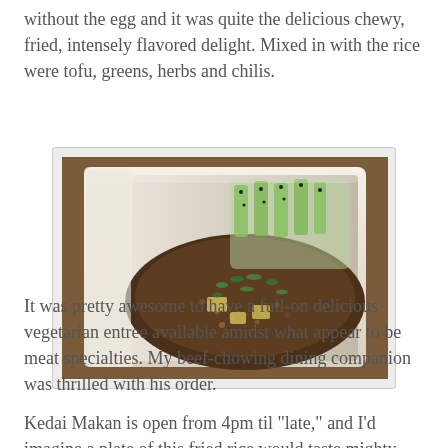without the egg and it was quite the delicious chewy, fried, intensely flavored delight. Mixed in with the rice were tofu, greens, herbs and chilis.
[Figure (photo): A takeout container (styrofoam clamshell) filled with fried rice topped with green onions and tofu pieces, alongside cucumber slices garnished with black sesame seeds.]
It was pretty awesome to have a full-on delicious vegetarian entree available amidst what appear to be meat specialties. My beef-chowing dining companion was thrilled with his order.
Kedai Makan is open from 4pm til "late," and I'd imagine a plate of this fried rice would taste mighty fine at closing time.